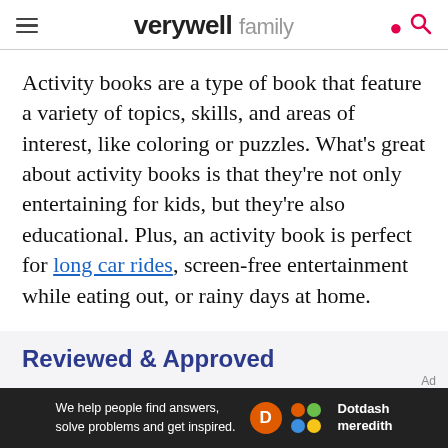verywell family
Activity books are a type of book that feature a variety of topics, skills, and areas of interest, like coloring or puzzles. What's great about activity books is that they're not only entertaining for kids, but they're also educational. Plus, an activity book is perfect for long car rides, screen-free entertainment while eating out, or rainy days at home.
Reviewed & Approved
The Paint By Stickers: Under the Sea includes 10 pages of intricate and unique designs that
[Figure (other): Advertisement banner: 'We help people find answers, solve problems and get inspired.' with Dotdash Meredith logo]